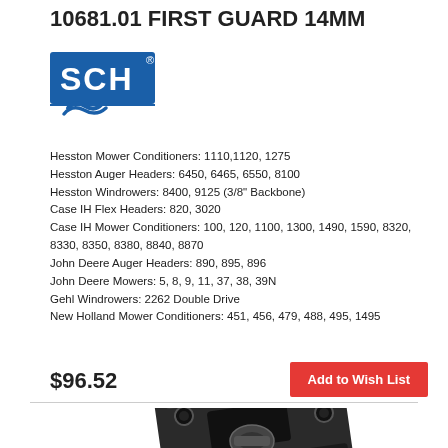10681.01 FIRST GUARD 14MM
[Figure (logo): SCH logo — blue rectangular logo with SCH letters in white and a stylized S mark below]
Hesston Mower Conditioners: 1110,1120, 1275
Hesston Auger Headers: 6450, 6465, 6550, 8100
Hesston Windrowers: 8400, 9125 (3/8" Backbone)
Case IH Flex Headers: 820, 3020
Case IH Mower Conditioners: 100, 120, 1100, 1300, 1490, 1590, 8320, 8330, 8350, 8380, 8840, 8870
John Deere Auger Headers: 890, 895, 896
John Deere Mowers: 5, 8, 9, 11, 37, 38, 39N
Gehl Windrowers: 2262 Double Drive
New Holland Mower Conditioners: 451, 456, 479, 488, 495, 1495
$96.52
Add to Wish List
[Figure (photo): Product photo of a black metal guard component (First Guard 14MM) viewed from above at an angle, showing mounting holes and mechanical linkage]